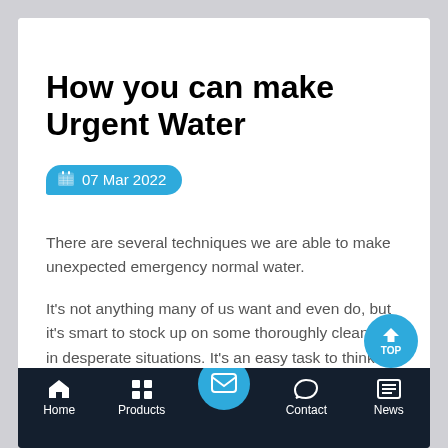How you can make Urgent Water
07 Mar 2022
There are several techniques we are able to make unexpected emergency normal water.
It's not anything many of us want and even do, but it's smart to stock up on some thoroughly clean h2o in desperate situations. It's an easy task to think that your existing plain tap water provide is here to keep, but failure can occur, usually w a minimum of forewarning, and you never know
Home | Products | Contact | News